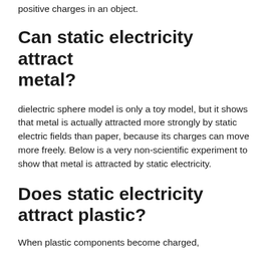positive charges in an object.
Can static electricity attract metal?
dielectric sphere model is only a toy model, but it shows that metal is actually attracted more strongly by static electric fields than paper, because its charges can move more freely. Below is a very non-scientific experiment to show that metal is attracted by static electricity.
Does static electricity attract plastic?
When plastic components become charged,